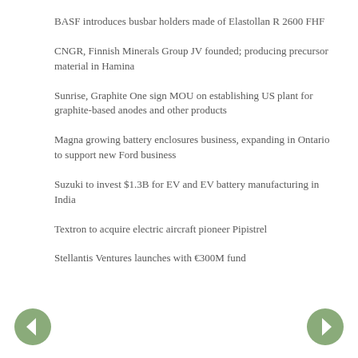BASF introduces busbar holders made of Elastollan R 2600 FHF
CNGR, Finnish Minerals Group JV founded; producing precursor material in Hamina
Sunrise, Graphite One sign MOU on establishing US plant for graphite-based anodes and other products
Magna growing battery enclosures business, expanding in Ontario to support new Ford business
Suzuki to invest $1.3B for EV and EV battery manufacturing in India
Textron to acquire electric aircraft pioneer Pipistrel
Stellantis Ventures launches with €300M fund
[Figure (other): Left navigation arrow button (circular, sage green)]
[Figure (other): Right navigation arrow button (circular, sage green)]